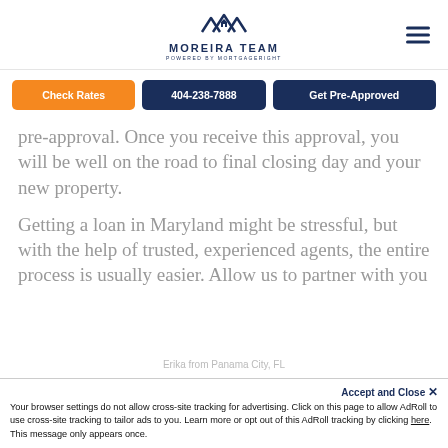MOREIRA TEAM — POWERED BY MORTGAGERIGHT
Check Rates | 404-238-7888 | Get Pre-Approved
pre-approval. Once you receive this approval, you will be well on the road to final closing day and your new property.
Getting a loan in Maryland might be stressful, but with the help of trusted, experienced agents, the entire process is usually easier. Allow us to partner with you
Accept and Close ✕
Your browser settings do not allow cross-site tracking for advertising. Click on this page to allow AdRoll to use cross-site tracking to tailor ads to you. Learn more or opt out of this AdRoll tracking by clicking here. This message only appears once.